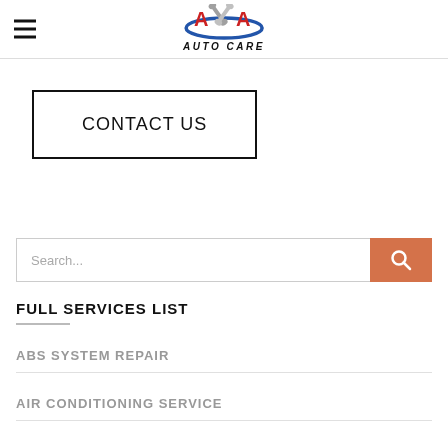[Figure (logo): AXA Auto Care logo with crossed wrenches and blue oval, bold italic AUTO CARE text below]
CONTACT US
Search...
FULL SERVICES LIST
ABS SYSTEM REPAIR
AIR CONDITIONING SERVICE